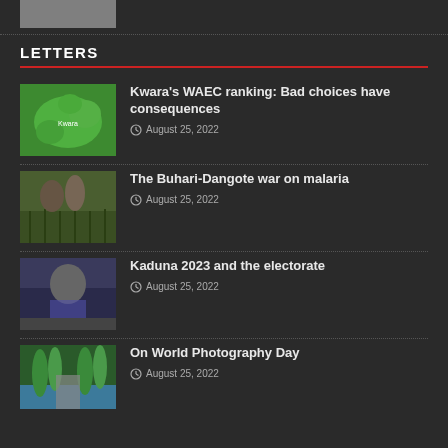[Figure (photo): Partial photo thumbnail at top of page]
LETTERS
Kwara’s WAEC ranking: Bad choices have consequences — August 25, 2022
The Buhari-Dangote war on malaria — August 25, 2022
Kaduna 2023 and the electorate — August 25, 2022
On World Photography Day — August 25, 2022